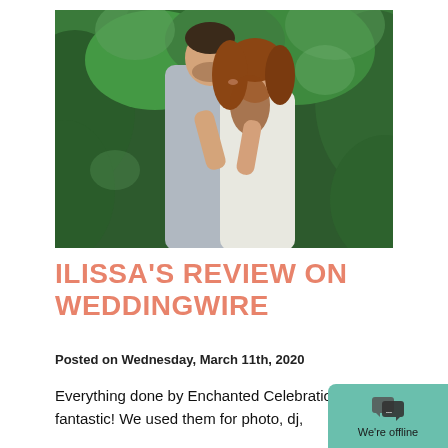[Figure (photo): Wedding couple kissing outdoors in front of lush green pine/evergreen trees. The groom wears a light gray suit, the bride has curly red hair and a white dress.]
ILISSA'S REVIEW ON WEDDINGWIRE
Posted on Wednesday, March 11th, 2020
Everything done by Enchanted Celebrations was fantastic! We used them for photo, dj,